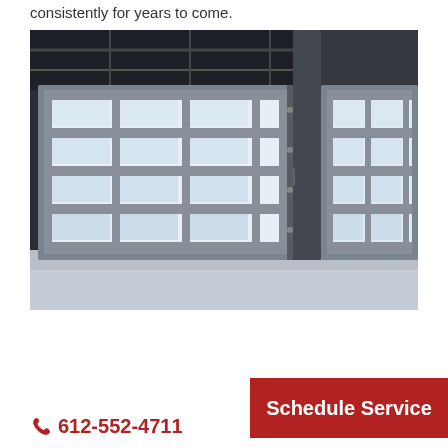consistently for years to come.
[Figure (photo): Two large commercial glass panel sectional garage doors in an industrial/warehouse setting with gray concrete floor and dark ceiling with exposed structure.]
612-552-4711
Schedule Service